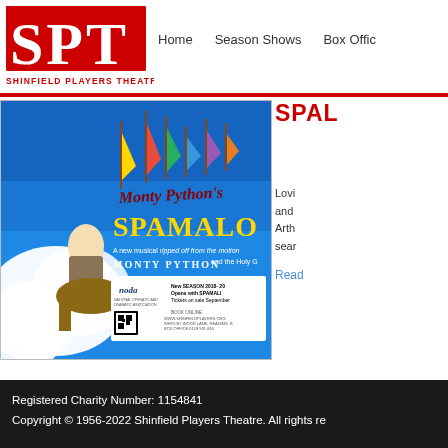Home   Season Shows   Box Office
[Figure (logo): Shinfield Players Theatre (SPT) logo — red block letters SPT with 'SHINFIELD PLAYERS THEATRE' below]
[Figure (photo): Monty Python's Spamalot musical poster on blue background with knight on horse, colorful flags, show title in bold yellow and red letters, noda award badge, QR code and booking info]
SPAL
Lovi and Arth sear
Read
Registered Charity Number: 1154841
Copyright © 1956-2022 Shinfield Players Theatre. All rights re